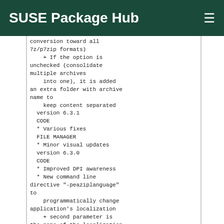SUSE Package Hub
conversion toward all
7z/p7zip formats)
    + If the option is unchecked (consolidate multiple archives
    into one), it is added an extra folder with archive name to
    keep content separated
  version 6.3.1
  CODE
  * Various fixes
  FILE MANAGER
  * Minor visual updates
  version 6.3.0
  CODE
  * Improved DPI awareness
  * New command line directive "-peaziplanguage" to
    programmatically change application's localization
    + second parameter is the name of the localization file,
    proper localization directory "lang" is resolved by the program
    example: peazip.exe -peaziplanguage it.txt
    + please note if other instances of PeaZip are open, they will
    overwrite language in